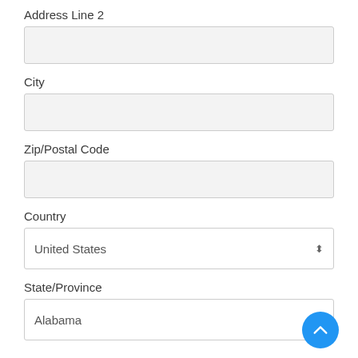Address Line 2
City
Zip/Postal Code
Country
United States
State/Province
Alabama